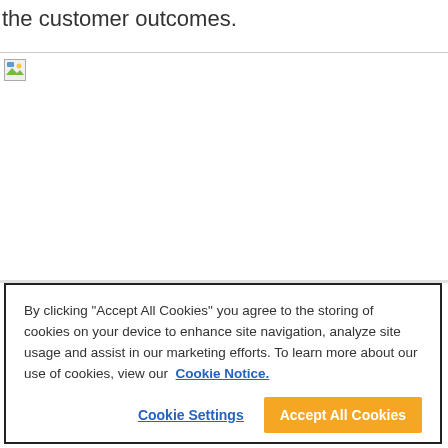the customer outcomes.
[Figure (other): Broken/unloaded image placeholder with small broken image icon in top-left corner, white area below a horizontal rule line]
By clicking "Accept All Cookies" you agree to the storing of cookies on your device to enhance site navigation, analyze site usage and assist in our marketing efforts. To learn more about our use of cookies, view our Cookie Notice.
Cookie Settings
Accept All Cookies